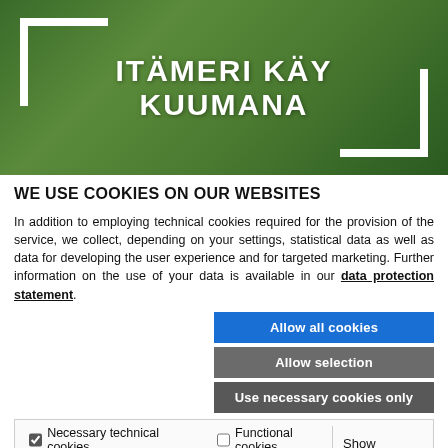[Figure (screenshot): Underwater scene with green algae/seagrass, teal-green water. White bracket corners in top-left and bottom-right. Large white bold text reads 'ITÄMERI KÄY KUUMANA' centered.]
WE USE COOKIES ON OUR WEBSITES
In addition to employing technical cookies required for the provision of the service, we collect, depending on your settings, statistical data as well as data for developing the user experience and for targeted marketing. Further information on the use of your data is available in our data protection statement.
Allow all cookies
Allow selection
Use necessary cookies only
Necessary technical cookies   Functional cookies   Statistics cookies   Marketing cookies   Show details